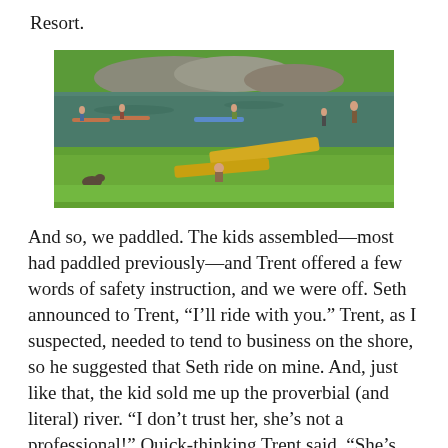Resort.
[Figure (photo): Outdoor scene at a resort showing people paddleboarding on a calm river or pond, with green grass banks, rocky shore in the background, and yellow paddle boards visible on the grass.]
And so, we paddled. The kids assembled—most had paddled previously—and Trent offered a few words of safety instruction, and we were off. Seth announced to Trent, “I’ll ride with you.” Trent, as I suspected, needed to tend to business on the shore, so he suggested that Seth ride on mine. And, just like that, the kid sold me up the proverbial (and literal) river. “I don’t trust her, she’s not a professional!” Quick-thinking Trent said, “She’s better than a pro—she’s your MOM!”